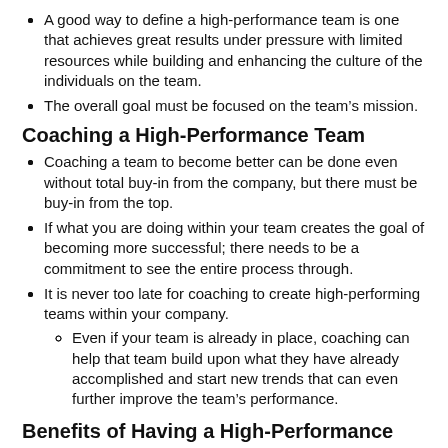A good way to define a high-performance team is one that achieves great results under pressure with limited resources while building and enhancing the culture of the individuals on the team.
The overall goal must be focused on the team's mission.
Coaching a High-Performance Team
Coaching a team to become better can be done even without total buy-in from the company, but there must be buy-in from the top.
If what you are doing within your team creates the goal of becoming more successful; there needs to be a commitment to see the entire process through.
It is never too late for coaching to create high-performing teams within your company.
Even if your team is already in place, coaching can help that team build upon what they have already accomplished and start new trends that can even further improve the team's performance.
Benefits of Having a High-Performance Team